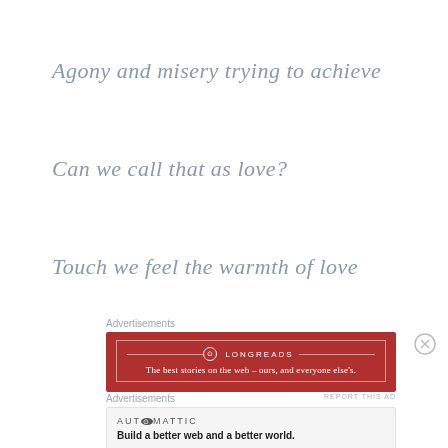Agony and misery trying to achieve
Can we call that as love?
Touch we feel the warmth of love
Advertisements
[Figure (other): Longreads advertisement banner: red background with Longreads logo and text 'The best stories on the web – ours, and everyone else's.']
REPORT THIS AD
Advertisements
[Figure (other): Automattic advertisement: white background with Automattic logo and text 'Build a better web and a better world.']